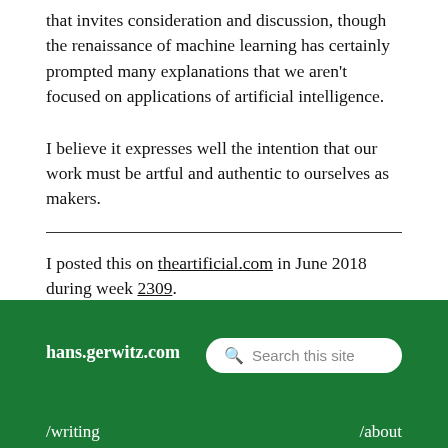that invites consideration and discussion, though the renaissance of machine learning has certainly prompted many explanations that we aren't focused on applications of artificial intelligence.
I believe it expresses well the intention that our work must be artful and authentic to ourselves as makers.
I posted this on theartificial.com in June 2018 during week 2309.
For more, you should follow me on Twitter.
hans.gerwitz.com   Search this site   /writing   /about